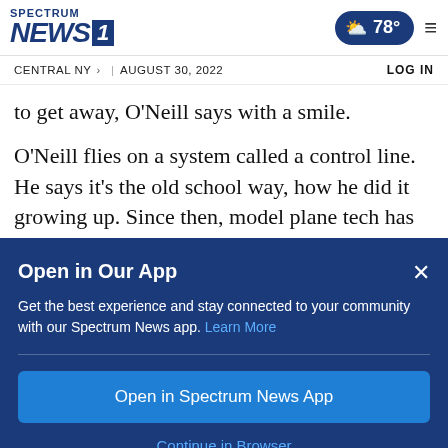Spectrum NEWS1 | 78° | CENTRAL NY > | AUGUST 30, 2022 | LOG IN
to get away, O'Neill says with a smile.
O'Neill flies on a system called a control line. He says it's the old school way, how he did it growing up. Since then, model plane tech has evolved, and most people fly with a remote
Open in Our App
Get the best experience and stay connected to your community with our Spectrum News app. Learn More
Open in Spectrum News App
Continue in Browser